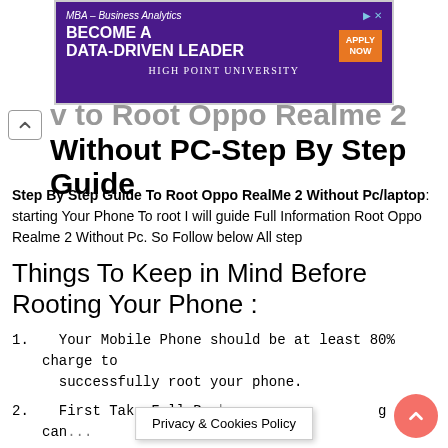[Figure (other): Advertisement banner for High Point University MBA Business Analytics program with purple background, 'BECOME A DATA-DRIVEN LEADER' headline, and orange 'APPLY NOW' button]
v to Root Oppo Realme 2 Without PC-Step By Step Guide
Step By Step Guide To Root Oppo RealMe 2 Without Pc/laptop: starting Your Phone To root I will guide Full Information Root Oppo Realme 2 Without Pc. So Follow below All step
Things To Keep in Mind Before Rooting Your Phone :
Your Mobile Phone should be at least 80% charge to successfully root your phone.
First Take Full Back... g can ...
Privacy & Cookies Policy